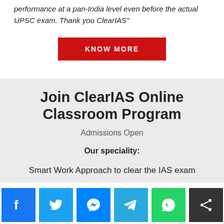performance at a pan-India level even before the actual UPSC exam. Thank you ClearIAS"
[Figure (other): Red button labeled KNOW MORE]
Join ClearIAS Online Classroom Program
Admissions Open
Our speciality:
Smart Work Approach to clear the IAS exam
[Figure (other): Social sharing icons row: Facebook, Twitter, Messenger, Telegram, WhatsApp, Share]